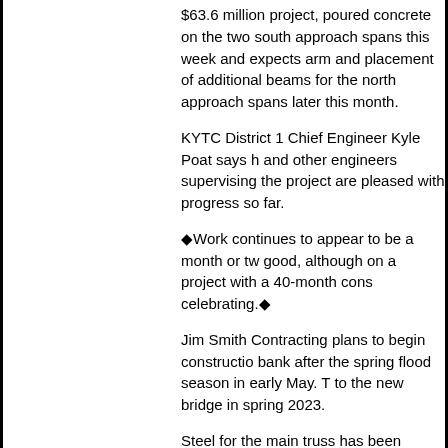$63.6 million project, poured concrete on the two south approach spans this week and expects army and placement of additional beams for the north approach spans later this month.
KYTC District 1 Chief Engineer Kyle Poat says he and other engineers supervising the project are pleased with progress so far.
◆Work continues to appear to be a month or two good, although on a project with a 40-month cons celebrating.◆
Jim Smith Contracting plans to begin construction bank after the spring flood season in early May. T to the new bridge in spring 2023.
Steel for the main truss has been ordered and sho main span will be assembled off-site, beginning th barge and lifted into place in fall 2022.
The new bridge will have a 40-foot-wide, two-lane wide shoulders, allowing motor vehicles to share t
In addition to providing a significant link for U.S. 6 maintain a critical connection for Livingston Coun
The new bridge will replace a span built in 1931 a Bridge or Smithland Bridge.
[Read Full Text]